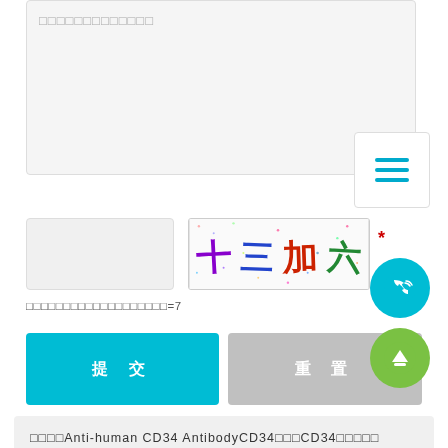□□□□□□□□□□□□□
[Figure (screenshot): CAPTCHA image showing Chinese characters 十三加六 in colorful distorted text with noise dots]
□□□□□□□□□□□□□□□□□□□=7
提 交
重 置
□□□□Anti-human CD34 AntibodyCD34□□□CD34□□□□□
□□□□Anti-human CD56 AntibodyCD56□□□CD56□□□□□